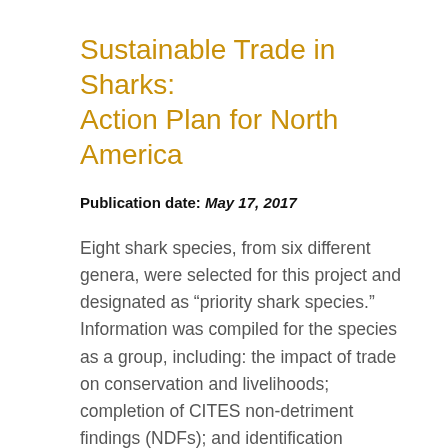Sustainable Trade in Sharks: Action Plan for North America
Publication date: May 17, 2017
Eight shark species, from six different genera, were selected for this project and designated as “priority shark species.” Information was compiled for the species as a group, including: the impact of trade on conservation and livelihoods; completion of CITES non-detriment findings (NDFs); and identification challenges for CITES enforcement. The eight species were